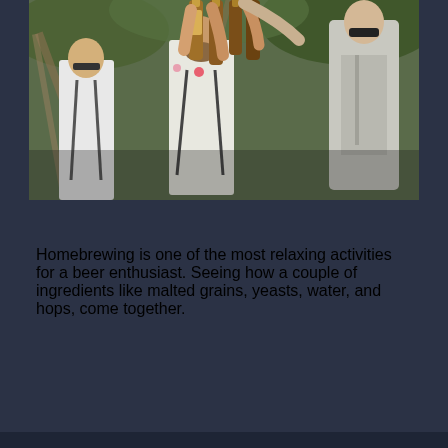[Figure (photo): Low-angle upward shot of several men in white shirts with suspenders and one in a gray suit, clinking beer bottles together outdoors under palm trees and a wooden pergola structure.]
Homebrewing is one of the most relaxing activities for a beer enthusiast. Seeing how a couple of ingredients like malted grains, yeasts, water, and hops, come together.